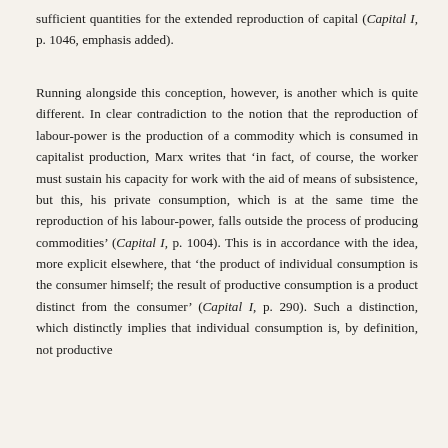sufficient quantities for the extended reproduction of capital (Capital I, p. 1046, emphasis added).
Running alongside this conception, however, is another which is quite different. In clear contradiction to the notion that the reproduction of labour-power is the production of a commodity which is consumed in capitalist production, Marx writes that ‘in fact, of course, the worker must sustain his capacity for work with the aid of means of subsistence, but this, his private consumption, which is at the same time the reproduction of his labour-power, falls outside the process of producing commodities’ (Capital I, p. 1004). This is in accordance with the idea, more explicit elsewhere, that ‘the product of individual consumption is the consumer himself; the result of productive consumption is a product distinct from the consumer’ (Capital I, p. 290). Such a distinction, which distinctly implies that individual consumption is, by definition, not productive